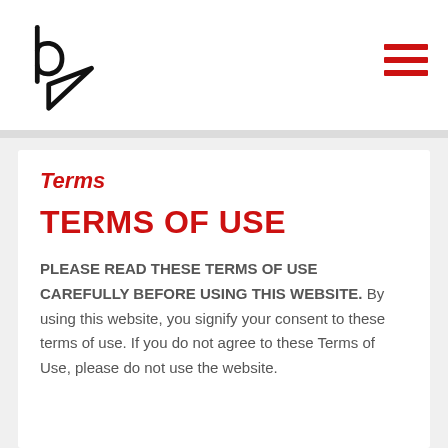[Figure (logo): Logo with letter b and arrow/play button shape in black outline]
Terms
TERMS OF USE
PLEASE READ THESE TERMS OF USE CAREFULLY BEFORE USING THIS WEBSITE. By using this website, you signify your consent to these terms of use. If you do not agree to these Terms of Use, please do not use the website.